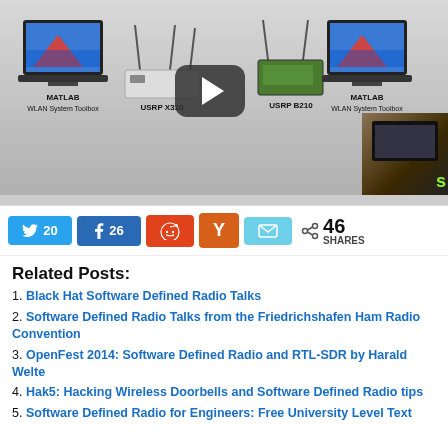[Figure (screenshot): Video thumbnail showing MATLAB WLAN System Toolbox with USRP X310 on left side and USRP B210 with MATLAB WLAN System Toolbox on right side, with a YouTube-style play button in the center. A small room/presentation image appears in the bottom right corner.]
[Figure (infographic): Social share bar with Twitter (20), Facebook (26), Reddit, Yammer, Email buttons and total 46 SHARES count]
Related Posts:
1. Black Hat Software Defined Radio Talks
2. Software Defined Radio Talks from the Friedrichshafen Ham Radio Convention
3. OpenFest 2014: Software Defined Radio and RTL-SDR by Harald Welte
4. Hak5: Hacking Wireless Doorbells and Software Defined Radio tips
5. Software Defined Radio for Engineers: Free University Level Text